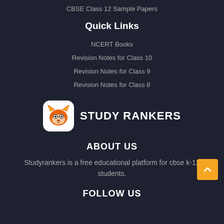CBSE Class 12 Sample Papers
Quick Links
NCERT Books
Revision Notes for Class 10
Revision Notes for Class 9
Revision Notes for Class 8
[Figure (logo): Study Rankers fox logo with brand name STUDY RANKERS]
ABOUT US
Studyrankers is a free educational platform for cbse k-12 students.
FOLLOW US